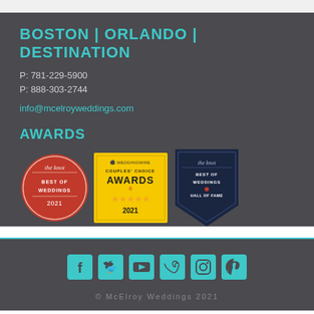BOSTON | ORLANDO | DESTINATION
P: 781-229-5900
P: 888-303-2744
info@mcelroyweddings.com
AWARDS
[Figure (logo): Three award badges: The Knot Best of Weddings 2021 (red circular badge), WeddingWire Couples Choice Awards 2021 (yellow square badge with stars), The Knot Best of Weddings Hall of Fame (dark blue pennant badge)]
[Figure (infographic): Social media icons row: Facebook, Twitter, YouTube, Vimeo, Instagram, Pinterest — all in teal/cyan color]
© McElroy Weddings 2021